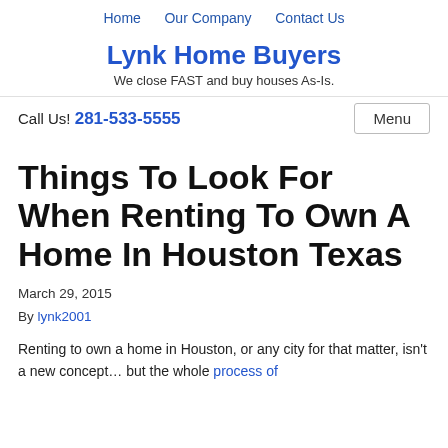Home   Our Company   Contact Us
Lynk Home Buyers
We close FAST and buy houses As-Is.
Call Us! 281-533-5555
Things To Look For When Renting To Own A Home In Houston Texas
March 29, 2015
By lynk2001
Renting to own a home in Houston, or any city for that matter, isn't a new concept… but the whole process of